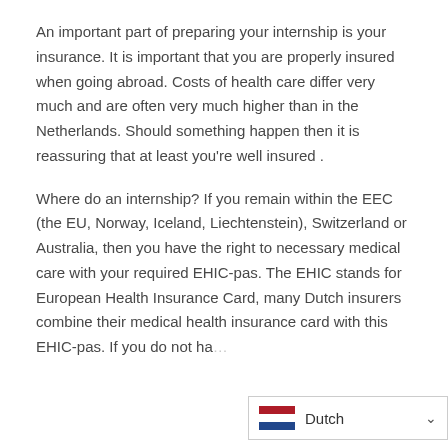An important part of preparing your internship is your insurance. It is important that you are properly insured when going abroad. Costs of health care differ very much and are often very much higher than in the Netherlands. Should something happen then it is reassuring that at least you're well insured .
Where do an internship? If you remain within the EEC (the EU, Norway, Iceland, Liechtenstein), Switzerland or Australia, then you have the right to necessary medical care with your required EHIC-pas. The EHIC stands for European Health Insurance Card, many Dutch insurers combine their medical health insurance card with this EHIC-pas. If you do not ha…